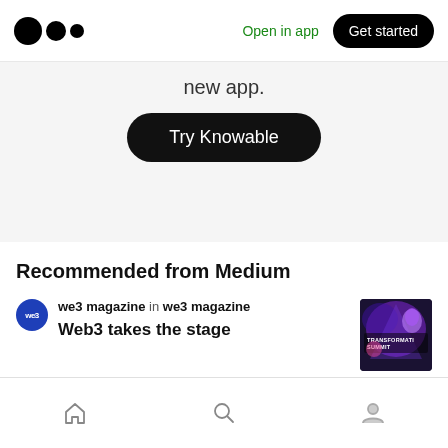Medium logo | Open in app | Get started
new app.
Try Knowable
Recommended from Medium
we3 magazine in we3 magazine
Web3 takes the stage
[Figure (photo): Thumbnail image showing a summit event stage with text 'TRANSFORMATION SUMMIT']
Home | Search | Profile navigation icons